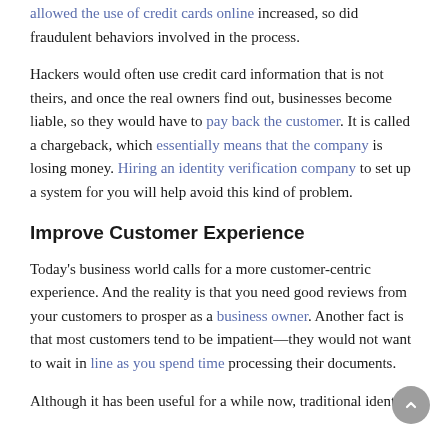allowed the use of credit cards online increased, so did fraudulent behaviors involved in the process.
Hackers would often use credit card information that is not theirs, and once the real owners find out, businesses become liable, so they would have to pay back the customer. It is called a chargeback, which essentially means that the company is losing money. Hiring an identity verification company to set up a system for you will help avoid this kind of problem.
Improve Customer Experience
Today's business world calls for a more customer-centric experience. And the reality is that you need good reviews from your customers to prosper as a business owner. Another fact is that most customers tend to be impatient—they would not want to wait in line as you spend time processing their documents.
Although it has been useful for a while now, traditional identity